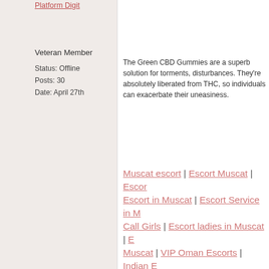Platform Digit
Veteran Member
Status: Offline
Posts: 30
Date: April 27th
The Green CBD Gummies are a superb solution for torments, disturbances. They're absolutely liberated from THC, so individuals can exacerbate their uneasiness.
Muscat escort | Escort Muscat | Escort in Muscat | Escort Service in Muscat | Call Girls | Escort ladies in Muscat | Escort Muscat | VIP Oman Escorts | Indian Escorts Oman | Oman Call Girls | Muscat Escorts | Escort Service in Oman | Indian Escort Service in Oman | Muscat Escort service Oman | Pakistani Escorts in Muscat
http://www.escortmuscat.com/ https://escortinoman.com/
ampva301
Newbie
Status: Offline
Let me attempt to see whether Green CBD Gummies Bears worth sharing this with me to experiment with. I'm on my way back